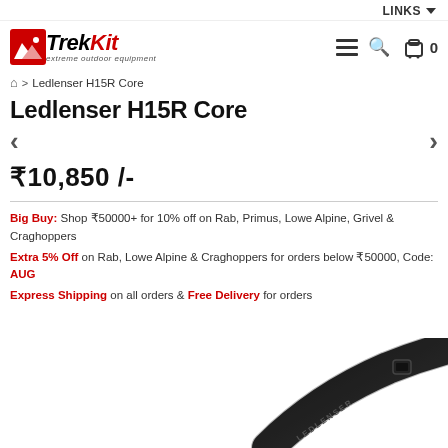LINKS
[Figure (logo): TrekKit extreme outdoor equipment logo with mountain icon]
breadcrumb: Home > Ledlenser H15R Core
Ledlenser H15R Core
₹10,850 /-
Big Buy: Shop ₹50000+ for 10% off on Rab, Primus, Lowe Alpine, Grivel & Craghoppers
Extra 5% Off on Rab, Lowe Alpine & Craghoppers for orders below ₹50000, Code: AUG
Express Shipping on all orders & Free Delivery for orders
[Figure (photo): Ledlenser H15R Core headlamp product photo showing black strap with Ledlenser branding]